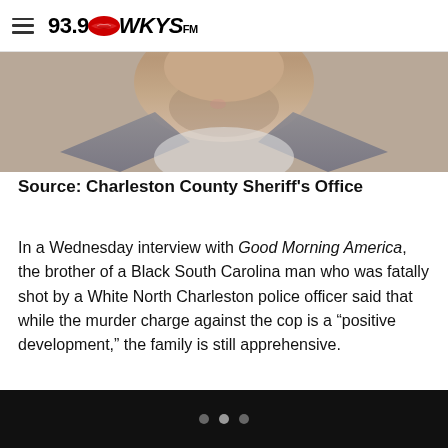93.9 WKYS
[Figure (photo): Close-up photo of a person's neck and lower chin area, cropped tightly, wearing what appears to be a denim or grey jacket with a white shirt underneath.]
Source: Charleston County Sheriff's Office
In a Wednesday interview with Good Morning America, the brother of a Black South Carolina man who was fatally shot by a White North Charleston police officer said that while the murder charge against the cop is a “positive development,” the family is still apprehensive.
• • •